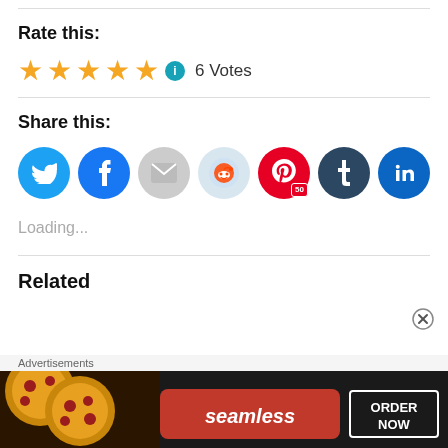Rate this:
★★★★★ ℹ 6 Votes
Share this:
[Figure (infographic): Social sharing buttons: Twitter (blue bird), Facebook (blue f), Email (gray envelope), Reddit (light blue alien), Pinterest (red P with badge 50), Tumblr (dark t), LinkedIn (blue in)]
Loading...
Related
Advertisements
[Figure (illustration): Seamless pizza advertisement banner with pizza image on left, red Seamless logo in center, and ORDER NOW button on right, dark background]